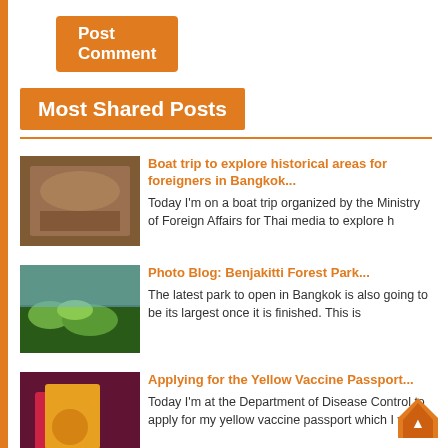Post Comment
Most Shared Posts
[Figure (photo): Group photo inside ornate hall — boat trip article thumbnail]
Boat trip to explore historical areas for foreigners in Bangkok...
Today I'm on a boat trip organized by the Ministry of Foreign Affairs for Thai media to explore h
[Figure (photo): Aerial photo of green park with water — Benjakitti Forest Park thumbnail]
Photo Blog: Benjakitti Forest Park...
The latest park to open in Bangkok is also going to be its largest once it is finished. This is
[Figure (photo): Red and yellow booklet/passport on dark background — Yellow Vaccine Passport thumbnail]
Applying for the Yellow Vaccine Passport...
Today I'm at the Department of Disease Control to apply for my yellow vaccine passport which I wil
[Figure (photo): Coastal/wall scenery — Samut Prakan to Samut Sakhon trip thumbnail]
A trip along the coast from Samut Prakan to Samut Sakhon...
This weekend I am exploring the coastline from Samut